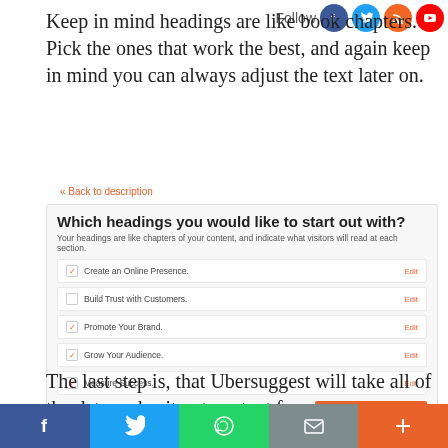Keep in mind headings are like book chapters. Pick the ones that work the best, and again keep in mind you can always adjust the text later on.
« Back to description
[Figure (screenshot): UI screenshot showing 'Which headings you would like to start out with?' with a subtitle 'Your headings are like chapters of your content, and indicate what visitors will read at each section.' Below are five rows: Create an Online Presence (checked, Edit), Build Trust with Customers (unchecked, Edit), Promote Your Brand (checked, Edit), Grow Your Audience (checked, Edit), Measure Success (checked, Edit). A 'WRITE FOR ME →' orange button at bottom right.]
The last step is, that Ubersuggest will take all of the data and spit out content for you.